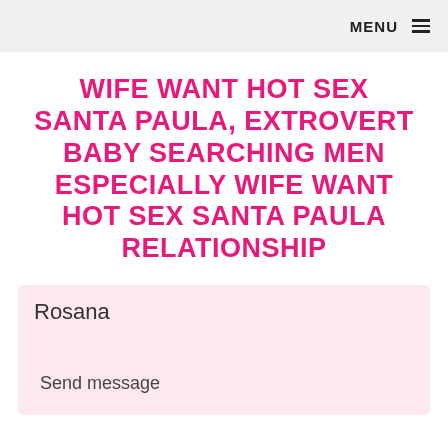MENU ☰
WIFE WANT HOT SEX SANTA PAULA, EXTROVERT BABY SEARCHING MEN ESPECIALLY WIFE WANT HOT SEX SANTA PAULA RELATIONSHIP
Rosana
Send message